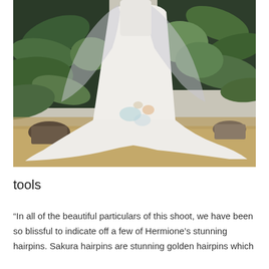[Figure (photo): A person wearing a white flowing wedding dress with a long train and a sheer veil, standing in front of lush green tropical plants. The figure has no visible face (cropped). The dress has subtle watercolor floral details near the hem.]
tools
“In all of the beautiful particulars of this shoot, we have been so blissful to indicate off a few of Hermione’s stunning hairpins. Sakura hairpins are stunning golden hairpins which